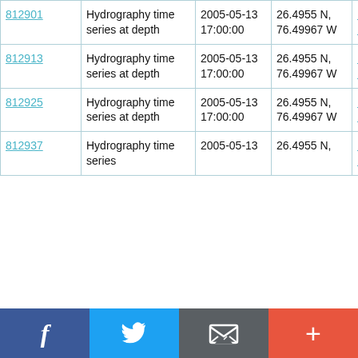| 812901 | Hydrography time series at depth | 2005-05-13 17:00:00 | 26.4955 N, 76.49967 W | RV Knorr KN182_2 |
| 812913 | Hydrography time series at depth | 2005-05-13 17:00:00 | 26.4955 N, 76.49967 W | RV Knorr KN182_2 |
| 812925 | Hydrography time series at depth | 2005-05-13 17:00:00 | 26.4955 N, 76.49967 W | RV Knorr KN182_2 |
| 812937 | Hydrography time series | 2005-05-13 | 26.4955 N, | RV Knorr KN182_2 |